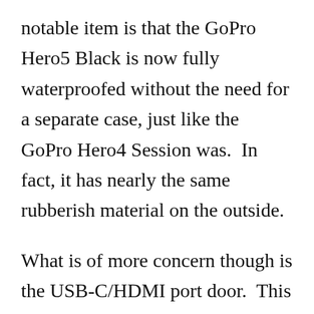notable item is that the GoPro Hero5 Black is now fully waterproofed without the need for a separate case, just like the GoPro Hero4 Session was.  In fact, it has nearly the same rubberish material on the outside.
What is of more concern though is the USB-C/HDMI port door.  This door pops off for placement into the Karma gimbal/drone, as well as just for charging: